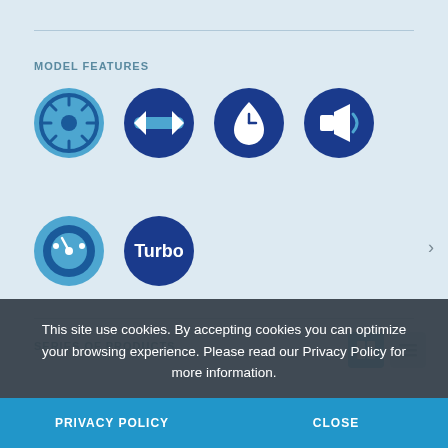MODEL FEATURES
[Figure (infographic): Six circular icons representing model features: fan/shutter icon (light blue), bidirectional arrows icon (dark blue), timer/stopwatch icon (dark blue), sound/speaker icon (dark blue), speed/timer icon (light blue), Turbo text icon (dark blue)]
SERIES OF PRODUCTS
[Figure (screenshot): Two view toggle buttons: grid view (active, blue) and list view (inactive, gray)]
This site use cookies. By accepting cookies you can optimize your browsing experience. Please read our Privacy Policy for more information.
PRIVACY POLICY
CLOSE